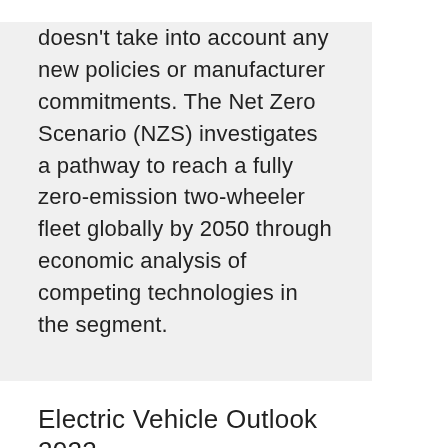doesn't take into account any new policies or manufacturer commitments. The Net Zero Scenario (NZS) investigates a pathway to reach a fully zero-emission two-wheeler fleet globally by 2050 through economic analysis of competing technologies in the segment.
Electric Vehicle Outlook 2022
Learn more →